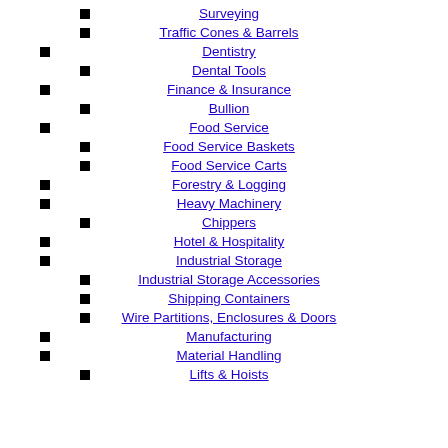Surveying
Traffic Cones & Barrels
Dentistry
Dental Tools
Finance & Insurance
Bullion
Food Service
Food Service Baskets
Food Service Carts
Forestry & Logging
Heavy Machinery
Chippers
Hotel & Hospitality
Industrial Storage
Industrial Storage Accessories
Shipping Containers
Wire Partitions, Enclosures & Doors
Manufacturing
Material Handling
Lifts & Hoists